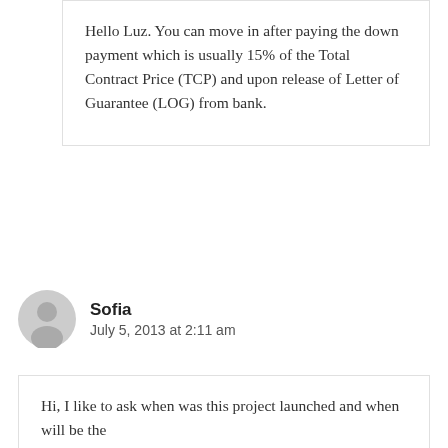Hello Luz. You can move in after paying the down payment which is usually 15% of the Total Contract Price (TCP) and upon release of Letter of Guarantee (LOG) from bank.
Sofia
July 5, 2013 at 2:11 am
Hi, I like to ask when was this project launched and when will be the